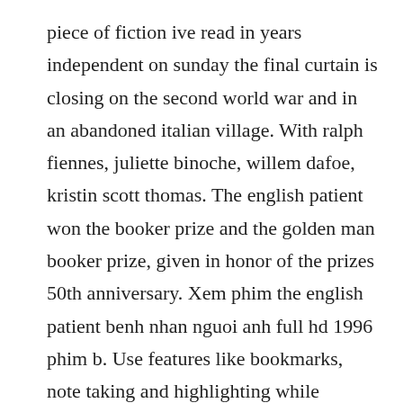piece of fiction ive read in years independent on sunday the final curtain is closing on the second world war and in an abandoned italian village. With ralph fiennes, juliette binoche, willem dafoe, kristin scott thomas. The english patient won the booker prize and the golden man booker prize, given in honor of the prizes 50th anniversary. Xem phim the english patient benh nhan nguoi anh full hd 1996 phim b. Use features like bookmarks, note taking and highlighting while reading the english patient vintage international.